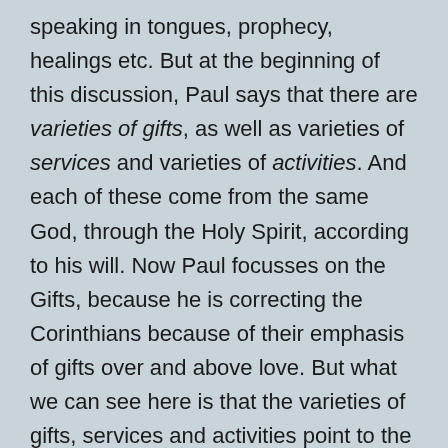speaking in tongues, prophecy, healings etc. But at the beginning of this discussion, Paul says that there are varieties of gifts, as well as varieties of services and varieties of activities. And each of these come from the same God, through the Holy Spirit, according to his will. Now Paul focusses on the Gifts, because he is correcting the Corinthians because of their emphasis of gifts over and above love. But what we can see here is that the varieties of gifts, services and activities point to the fact that what the Holy Spirit activates in believers is more than just the traditionally recognised